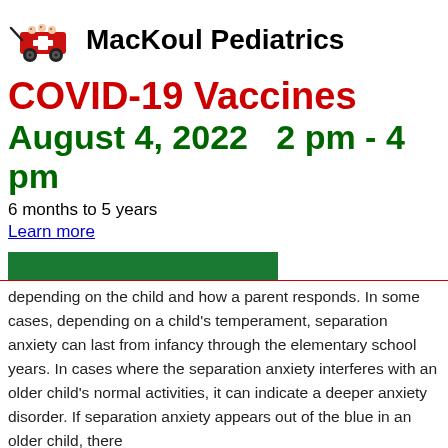[Figure (logo): MacKoul Pediatrics logo with red wagon carrying children and a cross symbol]
MacKoul Pediatrics
COVID-19 Vaccines
August 4, 2022   2 pm - 4 pm
6 months to 5 years
Learn more
depending on the child and how a parent responds. In some cases, depending on a child's temperament, separation anxiety can last from infancy through the elementary school years. In cases where the separation anxiety interferes with an older child's normal activities, it can indicate a deeper anxiety disorder. If separation anxiety appears out of the blue in an older child, there